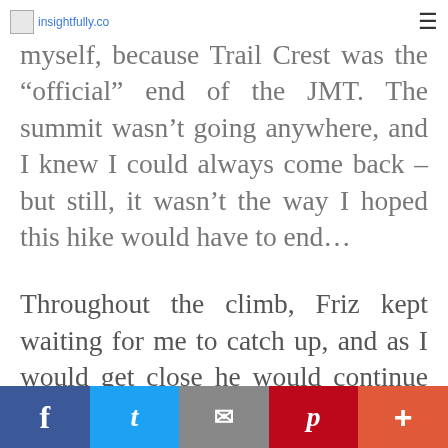insightfully.co
tried not to be disappointed in myself, because Trail Crest was the "official" end of the JMT. The summit wasn't going anywhere, and I knew I could always come back – but still, it wasn't the way I hoped this hike would have to end…
Throughout the climb, Friz kept waiting for me to catch up, and as I would get close he would continue on ahead. I'd watch him turn the corner of the switchback and hike above me. He knew I